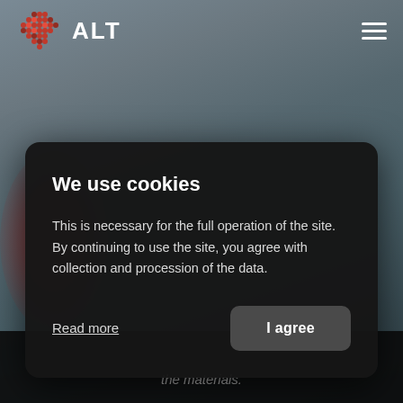[Figure (screenshot): Blurred background photo of a hand holding a laboratory or medical device, with dark overlay. ALT company logo visible top-left with hamburger menu icon top-right.]
We use cookies
This is necessary for the full operation of the site. By continuing to use the site, you agree with collection and procession of the data.
Read more
I agree
the materials.